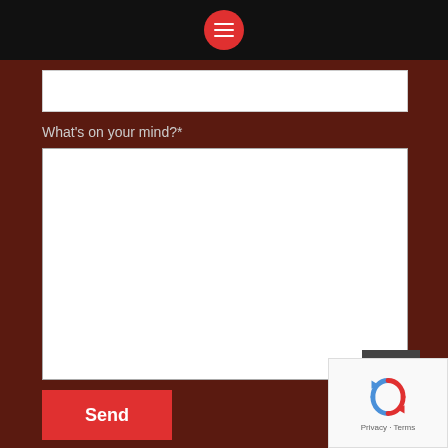[Figure (screenshot): Black top navigation bar with red circular hamburger menu button containing three white horizontal lines]
What's on your mind?*
[Figure (screenshot): White empty text input field at top and large white textarea for message input on dark reddish-brown background]
[Figure (screenshot): Dark grey scroll-to-top button with double chevron/arrow up icon]
Send
[Figure (screenshot): Google reCAPTCHA widget with circular arrow logo and Privacy - Terms links]